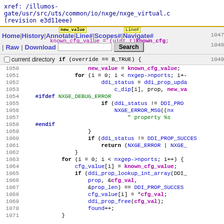xref: /illumos-gate/usr/src/uts/common/io/nxge/nxge_virtual.c (revision e3d11eee)
Home | History | Annotate | Line# | Scopes# | Navigate# | Raw | Download | Search
current directory
[Figure (screenshot): Source code viewer showing C code lines 1047-1071 of nxge_virtual.c with syntax highlighting]
1047  known_cfg_value = (uint_t)known_cfg;
1048
1049  if(override == B_TRUE) {
1050    new_value = known_cfg_value;
1051    for (i = 0; i < nxgep->nports; i++
1052      ddi_status = ddi_prop_upda
1053        c_dip[i], prop, new_va
1054    #ifdef NXGE_DEBUG_ERROR
1055      if (ddi_status != DDI_PROP
1056        NXGE_ERROR_MSG((nx
1057          " property %s
1058    #endif
1059      }
1060      if (ddi_status != DDI_PROP_SUCCESS
1061        return (NXGE_ERROR | NXGE_
1062    }
1063    for (i = 0; i < nxgep->nports; i++) {
1064      cfg_value[i] = known_cfg_value;
1065      if (ddi_prop_lookup_int_array(DDI_
1066        prop, &cfg_val,
1067        &prop_len) == DDI_PROP_SUCCESS
1068        cfg_value[i] = *cfg_val;
1069        ddi_prop_free(cfg_val);
1070        found++;
1071  }